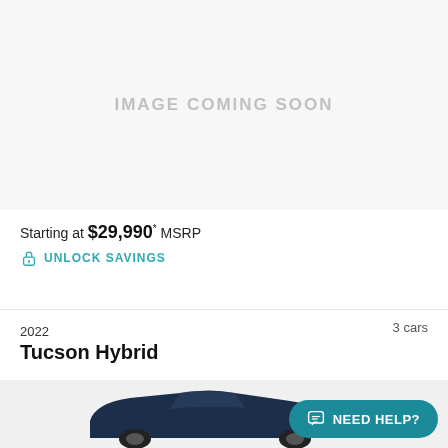[Figure (other): Gray placeholder box with text IMAGE COMING SOON]
Starting at $29,990* MSRP
UNLOCK SAVINGS
3 cars
2022
Tucson Hybrid
[Figure (photo): Partial view of a dark blue 2022 Hyundai Tucson Hybrid vehicle, bottom portion visible]
NEED HELP?